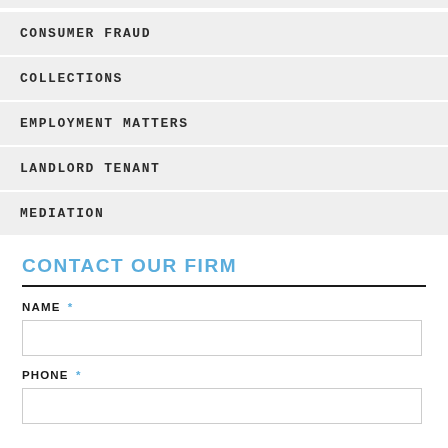CONSUMER FRAUD
COLLECTIONS
EMPLOYMENT MATTERS
LANDLORD TENANT
MEDIATION
CONTACT OUR FIRM
NAME *
PHONE *